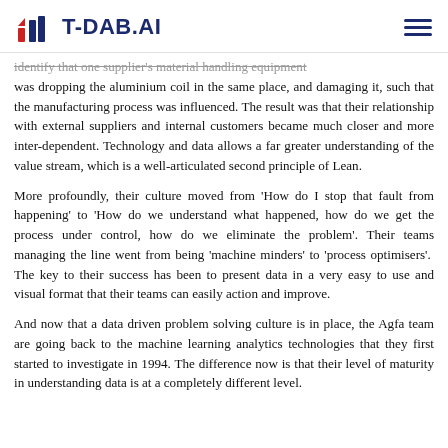T-DAB.AI
...identify that one supplier's material handling equipment was dropping the aluminium coil in the same place, and damaging it, such that the manufacturing process was influenced. The result was that their relationship with external suppliers and internal customers became much closer and more inter-dependent. Technology and data allows a far greater understanding of the value stream, which is a well-articulated second principle of Lean.
More profoundly, their culture moved from 'How do I stop that fault from happening' to 'How do we understand what happened, how do we get the process under control, how do we eliminate the problem'. Their teams managing the line went from being 'machine minders' to 'process optimisers'.  The key to their success has been to present data in a very easy to use and visual format that their teams can easily action and improve.
And now that a data driven problem solving culture is in place, the Agfa team are going back to the machine learning analytics technologies that they first started to investigate in 1994. The difference now is that their level of maturity in understanding data is at a completely different level.